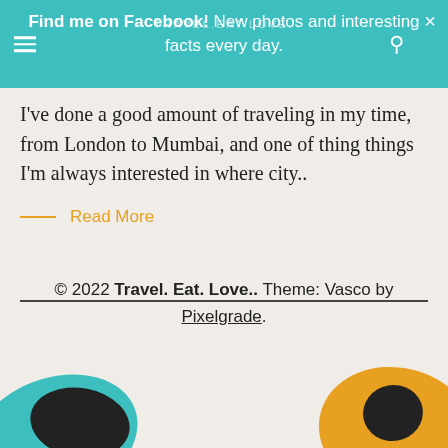Find me on Facebook! New photos and interesting facts every day.
I've done a good amount of traveling in my time, from London to Mumbai, and one of thing things I'm always interested in where city..
Read More
© 2022 Travel. Eat. Love.. Theme: Vasco by Pixelgrade.